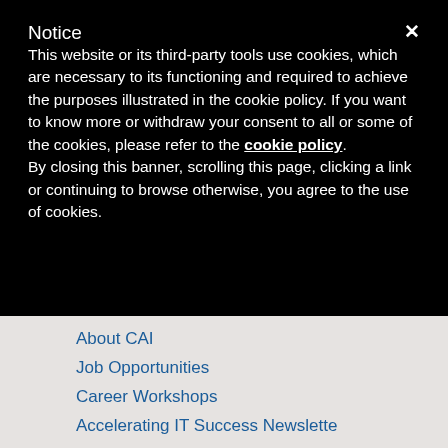Notice
This website or its third-party tools use cookies, which are necessary to its functioning and required to achieve the purposes illustrated in the cookie policy. If you want to know more or withdraw your consent to all or some of the cookies, please refer to the cookie policy.
By closing this banner, scrolling this page, clicking a link or continuing to browse otherwise, you agree to the use of cookies.
About CAI
Job Opportunities
Our Other Sites
Career Workshops
Accelerating IT Success Newsletter
Advanced Management Insight
True Project